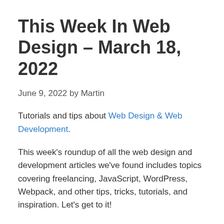This Week In Web Design – March 18, 2022
June 9, 2022 by Martin
Tutorials and tips about Web Design & Web Development.
This week's roundup of all the web design and development articles we've found includes topics covering freelancing, JavaScript, WordPress, Webpack, and other tips, tricks, tutorials, and inspiration. Let's get to it!
Exciting New Tools For Designers, March